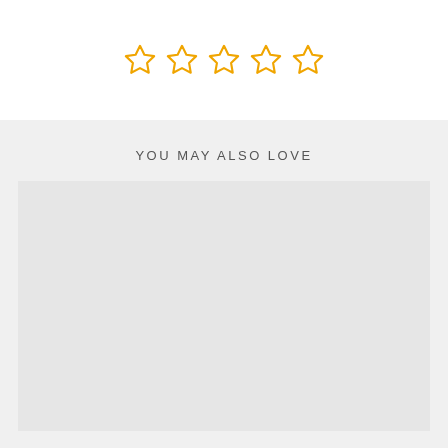[Figure (other): Five empty star rating icons in orange outline style]
YOU MAY ALSO LOVE
[Figure (other): Large empty gray placeholder image box]